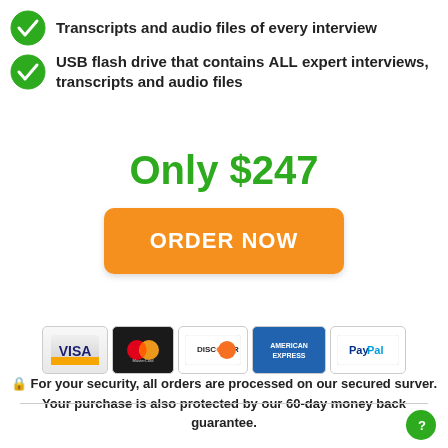Transcripts and audio files of every interview
USB flash drive that contains ALL expert interviews, transcripts and audio files
Only $247
ORDER NOW
[Figure (other): Payment method icons: VISA, MasterCard, Discover, American Express, PayPal]
🔒 For your security, all orders are processed on our secured surver. Your purchase is also protected by our 60-day money back guarantee.